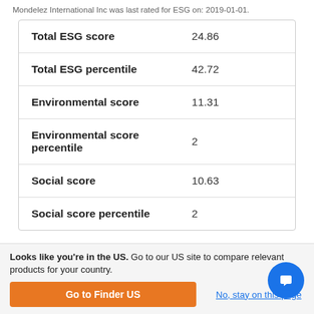Mondelez International Inc was last rated for ESG on: 2019-01-01.
|  |  |
| --- | --- |
| Total ESG score | 24.86 |
| Total ESG percentile | 42.72 |
| Environmental score | 11.31 |
| Environmental score percentile | 2 |
| Social score | 10.63 |
| Social score percentile | 2 |
Looks like you're in the US. Go to our US site to compare relevant products for your country.
Go to Finder US
No, stay on this page